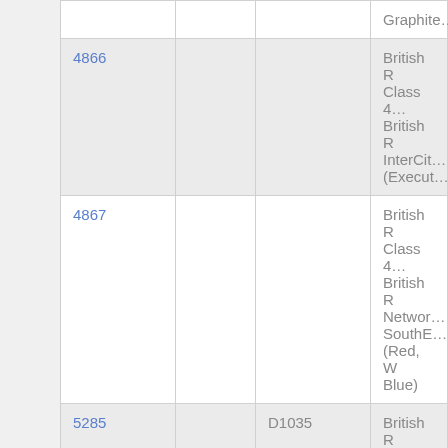| ID |  |  | Description |
| --- | --- | --- | --- |
|  |  |  | Graphite… |
| 4866 |  |  | British R…
Class 4…
British R…
InterCit…
(Execut… |
| 4867 |  |  | British R…
Class 4…
British R…
Networ…
SouthE…
(Red, W…
Blue) |
| 5285 |  | D1035 | British R…
Class 5…
British… |